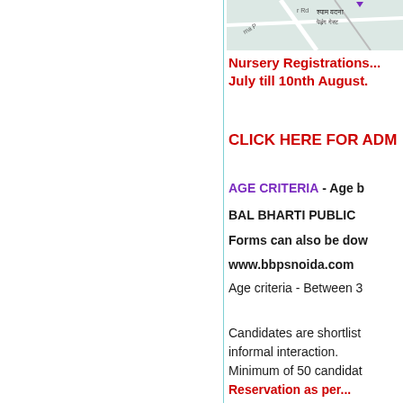[Figure (map): Map screenshot showing street names in Hindi and English]
Nursery Registrations... July till 10nth August.
CLICK HERE FOR ADM
AGE CRITERIA - Age b
BAL BHARTI PUBLIC
Forms can also be dow
www.bbpsnoida.com
Age criteria - Between 3
Candidates are shortlisted informal interaction. Minimum of 50 candidat
Reservation as per...